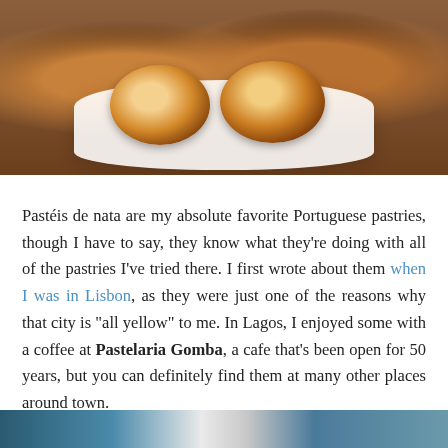[Figure (photo): Photo of pastéis de nata (Portuguese egg tarts) on a white plate on a wooden table, viewed from above]
Pastéis de nata are my absolute favorite Portuguese pastries, though I have to say, they know what they're doing with all of the pastries I've tried there. I first wrote about them when I was in Lisbon, as they were just one of the reasons why that city is "all yellow" to me. In Lagos, I enjoyed some with a coffee at Pastelaria Gomba, a cafe that's been open for 50 years, but you can definitely find them at many other places around town.
Visit the Fish Market
[Figure (photo): Partial photo at bottom of page, appears to show a fish market scene with blue/teal colors]